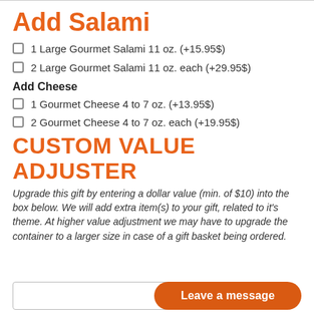Add Salami
1 Large Gourmet Salami 11 oz. (+15.95$)
2 Large Gourmet Salami 11 oz. each (+29.95$)
Add Cheese
1 Gourmet Cheese 4 to 7 oz. (+13.95$)
2 Gourmet Cheese 4 to 7 oz. each (+19.95$)
CUSTOM VALUE ADJUSTER
Upgrade this gift by entering a dollar value (min. of $10) into the box below. We will add extra item(s) to your gift, related to it's theme. At higher value adjustment we may have to upgrade the container to a larger size in case of a gift basket being ordered.
Leave a message